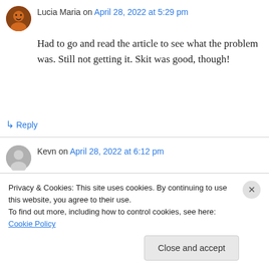Lucia Maria on April 28, 2022 at 5:29 pm
Had to go and read the article to see what the problem was. Still not getting it. Skit was good, though!
↳ Reply
Kevn on April 28, 2022 at 6:12 pm
Elon Musk ‘almost’ makes me want to join twitter.
↳ Reply
Privacy & Cookies: This site uses cookies. By continuing to use this website, you agree to their use.
To find out more, including how to control cookies, see here: Cookie Policy
Close and accept